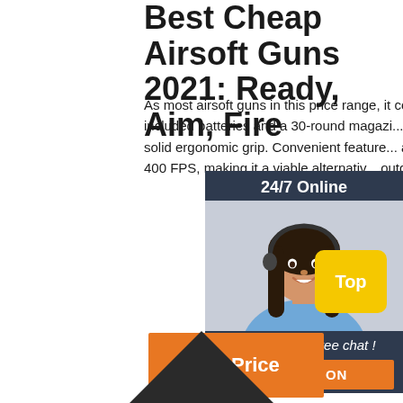Best Cheap Airsoft Guns 2021: Ready, Aim, Fire
As most airsoft guns in this price range, it comes with metal components on the inside. With included batteries and a 30-round magazine, airsoft gun is among the best for speed ba... a solid ergonomic grip. Convenient features... airsoft gun shoots BBs with speeds between and 400 FPS, making it a viable alternative... outdoor use.
[Figure (infographic): 24/7 Online chat widget with a woman wearing a headset. Dark navy background with text 'Click here for free chat!' and an orange QUOTATION button at the bottom.]
[Figure (other): Orange Get Price button]
[Figure (other): Yellow Top button in bottom right corner]
[Figure (other): Dark upward-pointing triangle arrow at bottom center of page]